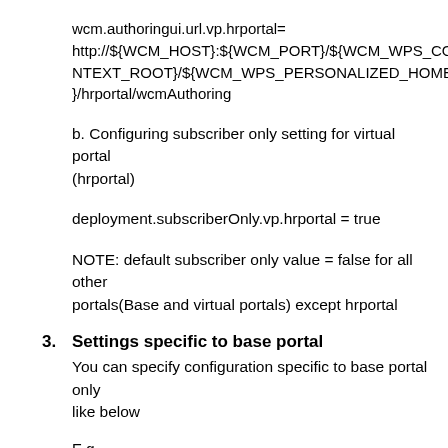wcm.authoringui.url.vp.hrportal=
http://${WCM_HOST}:${WCM_PORT}/${WCM_WPS_CONTEXT_ROOT}/${WCM_WPS_PERSONALIZED_HOME}/hrportal/wcmAuthoring
b. Configuring subscriber only setting for virtual portal (hrportal)
deployment.subscriberOnly.vp.hrportal = true
NOTE: default subscriber only value = false for all other portals(Base and virtual portals) except hrportal
3.  Settings specific to base portal
You can specify configuration specific to base portal only like below
E.g
wcm.authoringui.url.base =
http://${WCM_HOST}:${WCM_PORT}/${WCM_WPS_CONTEXT_ROOT}/${WCM_WPS_PERSONALIZED_HOME}